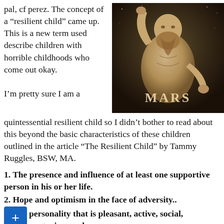pal, cf perez. The concept of a “resilient child” came up. This is a new term used describe children with horrible childhoods who come out okay.
[Figure (photo): Sepia-toned image of the Roman god Mars statue, muscular bearded male figure with arm raised, with text 'MARS' overlaid]
I’m pretty sure I am a quintessential resilient child so I didn’t bother to read about this beyond the basic characteristics of these children outlined in the article “The Resilient Child” by Tammy Ruggles, BSW, MA.
1. The presence and influence of at least one supportive person in his or her life.
2. Hope and optimism in the face of adversity..
personality that is pleasant, active, social, nurturing, and competitive.